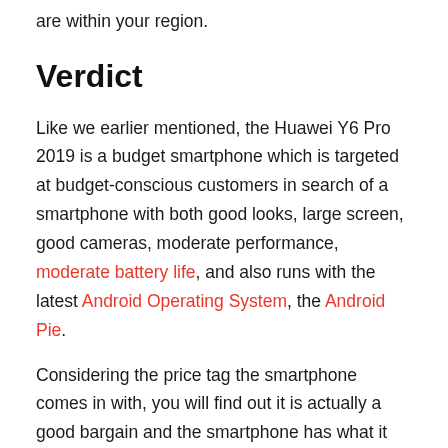are within your region.
Verdict
Like we earlier mentioned, the Huawei Y6 Pro 2019 is a budget smartphone which is targeted at budget-conscious customers in search of a smartphone with both good looks, large screen, good cameras, moderate performance, moderate battery life, and also runs with the latest Android Operating System, the Android Pie.
Considering the price tag the smartphone comes in with, you will find out it is actually a good bargain and the smartphone has what it takes to go head to head with other mid-range budget